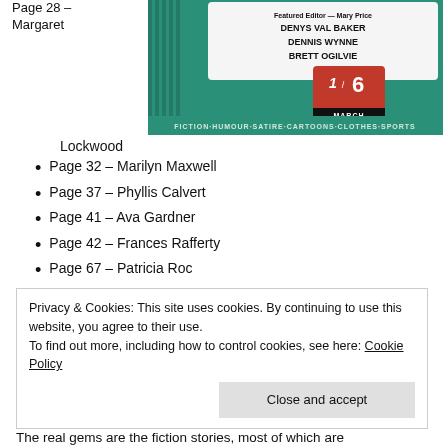Page 28 – Margaret
[Figure (photo): Magazine cover showing text: DENYS VAL BAKER, DENNIS WYNNE, BRETT OGILVIE, price 1/6, MARCH, FICTION·HUMOUR·SATIRE·CARTOONS·CLOTHES·SPORTS]
Lockwood
Page 32 – Marilyn Maxwell
Page 37 – Phyllis Calvert
Page 41 – Ava Gardner
Page 42 – Frances Rafferty
Page 67 – Patricia Roc
Privacy & Cookies: This site uses cookies. By continuing to use this website, you agree to their use.
To find out more, including how to control cookies, see here: Cookie Policy
The real gems are the fiction stories, most of which are